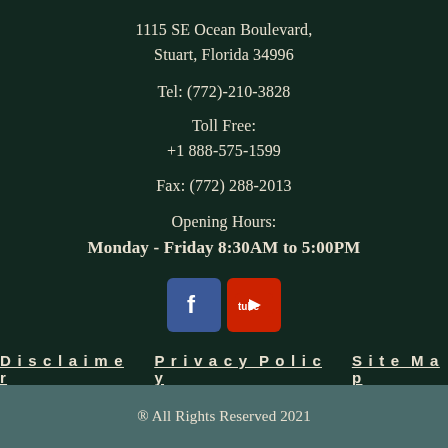1115 SE Ocean Boulevard, Stuart, Florida 34996
Tel: (772)-210-3828
Toll Free:
+1 888-575-1599
Fax: (772) 288-2013
Opening Hours:
Monday - Friday 8:30AM to 5:00PM
[Figure (logo): Facebook and YouTube social media icons side by side]
Disclaimer   Privacy Policy   Site Map
® All Rights Reserved 2021